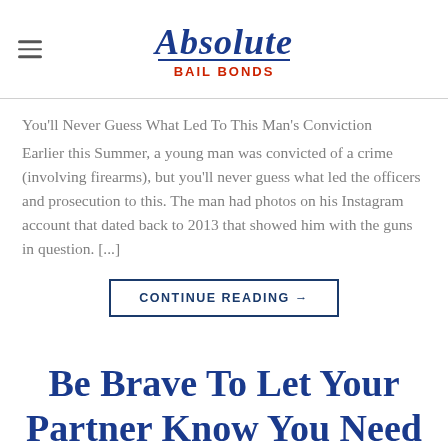Absolute Bail Bonds
You'll Never Guess What Led To This Man's Conviction
Earlier this Summer, a young man was convicted of a crime (involving firearms), but you'll never guess what led the officers and prosecution to this. The man had photos on his Instagram account that dated back to 2013 that showed him with the guns in question. [...]
CONTINUE READING →
Be Brave To Let Your Partner Know You Need